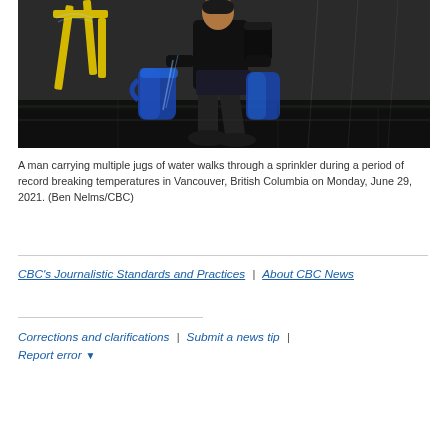[Figure (photo): A man carrying multiple blue water jugs walks through a sprinkler on a wet sidewalk, with yellow pipes visible in the background. Taken during record-breaking heat in Vancouver.]
A man carrying multiple jugs of water walks through a sprinkler during a period of record breaking temperatures in Vancouver, British Columbia on Monday, June 29, 2021. (Ben Nelms/CBC)
CBC's Journalistic Standards and Practices | About CBC News
Corrections and clarifications | Submit a news tip | Report error ▾